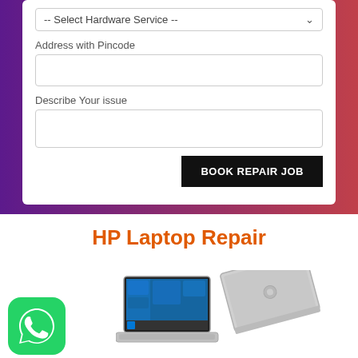-- Select Hardware Service --
Address with Pincode
Describe Your issue
BOOK REPAIR JOB
HP Laptop Repair
[Figure (logo): WhatsApp green logo icon]
[Figure (photo): HP laptop open and closed view, silver color with Windows 10 screen]